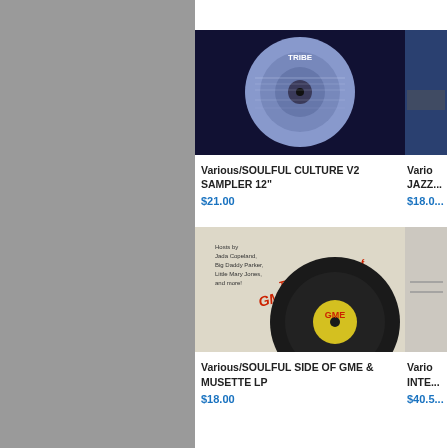[Figure (photo): Album/record product image - Tribe label vinyl record, blue/purple toned]
Various/SOULFUL CULTURE V2 SAMPLER 12"
$21.00
[Figure (photo): Partially visible album product image - blue cover with car]
Various/JAZZ...
$18.0...
[Figure (photo): GME & Musette Records vinyl LP - The soulful side of GME & Musette Records, yellow label visible]
Various/SOULFUL SIDE OF GME & MUSETTE LP
$18.00
[Figure (photo): Partially visible album product image]
Various/INTE...
$40.5...